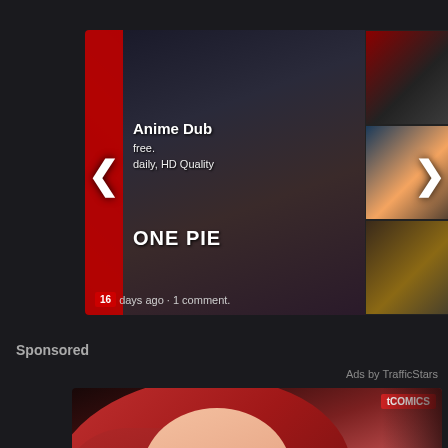[Figure (screenshot): Carousel/slider showing two anime content cards. Left card shows 'Anime Dub' with text 'free.' and 'daily, HD Quality', with timestamp '16 days ago · 1 comment.' and a red badge. Right card shows Japanese anime characters with Japanese text overlay and timestamp '6 months ago · 1 commen'. Navigation arrows (< and >) on sides.]
Sponsored
Ads by TrafficStars
[Figure (illustration): Anime/manga style advertisement banner showing a red-haired female character leaning forward, with red eyes. tComics logo visible in top right corner. Dark background with pinkish-red tones.]